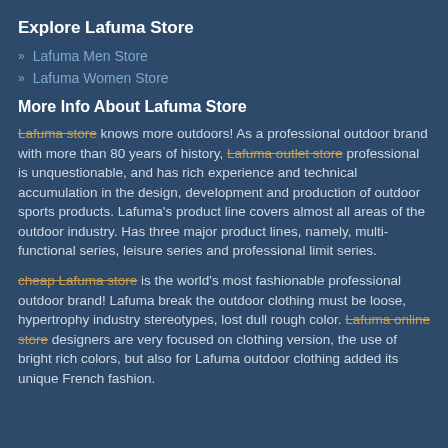Explore Lafuma Store
Lafuma Men Store
Lafuma Women Store
More Info About Lafuma Store
Lafuma store knows more outdoors! As a professional outdoor brand with more than 80 years of history, Lafuma outlet store professional is unquestionable, and has rich experience and technical accumulation in the design, development and production of outdoor sports products. Lafuma's product line covers almost all areas of the outdoor industry. Has three major product lines, namely, multi-functional series, leisure series and professional limit series.
cheap Lafuma store is the world's most fashionable professional outdoor brand! Lafuma break the outdoor clothing must be loose, hypertrophy industry stereotypes, lost dull rough color. Lafuma online store designers are very focused on clothing version, the use of bright rich colors, but also for Lafuma outdoor clothing added its unique French fashion.